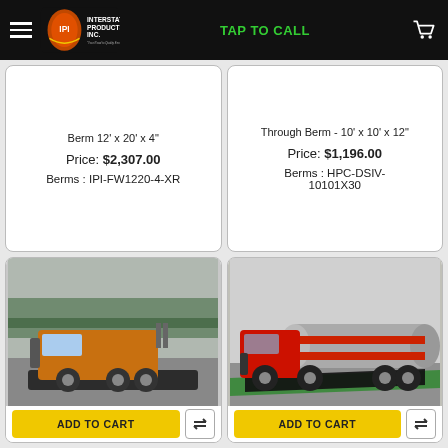Interstate Products, Inc. — TAP TO CALL
Berm 12' x 20' x 4"
Price: $2,307.00
Berms : IPI-FW1220-4-XR
Through Berm - 10' x 10' x 12"
Price: $1,196.00
Berms : HPC-DSIV-10101X30
[Figure (photo): Large yellow semi-truck driving over a flat black drive-over berm on a paved road with trees in background. ADD TO CART button below.]
[Figure (photo): Red and silver tanker truck with large wheels resting on a green-edged drive-through berm. ADD TO CART button below.]